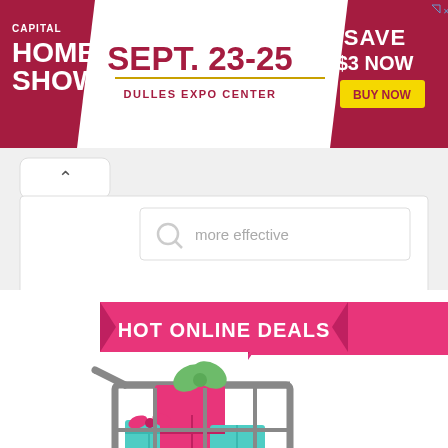[Figure (infographic): Capital Home Show advertisement banner: dark red/crimson background with white text 'CAPITAL HOME SHOW' on left, white diagonal middle section with 'SEPT. 23-25' in large dark red text and 'DULLES EXPO CENTER' below, and right section with 'SAVE $3 NOW' and yellow 'BUY NOW' button.]
[Figure (screenshot): Browser interface showing a tab with up caret symbol and a search bar containing the placeholder text 'more effective' with a search magnifying glass icon.]
[Figure (infographic): Hot Online Deals graphic: pink/magenta ribbon banner with white bold text 'HOT ONLINE DEALS', and below it a shopping cart illustration filled with colorful wrapped gift boxes in pink, teal/mint, and orange colors with green bows.]